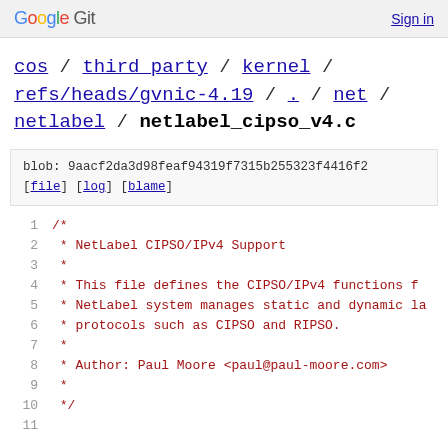Google Git  Sign in
cos / third_party / kernel / refs/heads/gvnic-4.19 / . / net / netlabel / netlabel_cipso_v4.c
blob: 9aacf2da3d98feaf94319f7315b255323f4416f2 [file] [log] [blame]
1  /*
2   * NetLabel CIPSO/IPv4 Support
3   *
4   * This file defines the CIPSO/IPv4 functions f
5   * NetLabel system manages static and dynamic la
6   * protocols such as CIPSO and RIPSO.
7   *
8   * Author: Paul Moore <paul@paul-moore.com>
9   *
10  */
11